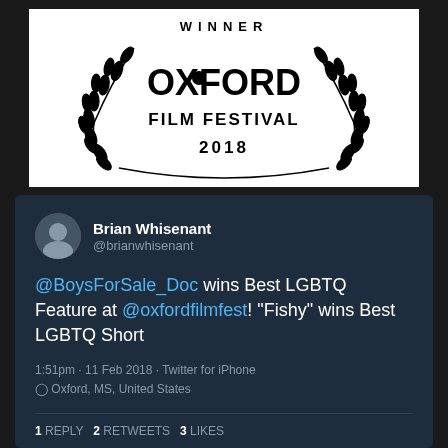[Figure (logo): Oxford Film Festival 2018 Winner laurel wreath logo with black text on white background]
Brian Whisenant @brianwhisenant
@BoysForSale_Doc wins Best LGBTQ Feature at @oxfordfilmfest! "Fishy" wins Best LGBTQ Short
1:51pm · 11 Feb 2018 · Twitter for iPhone
📍Oxford, MS, United States
1 REPLY  2 RETWEETS  3 LIKES